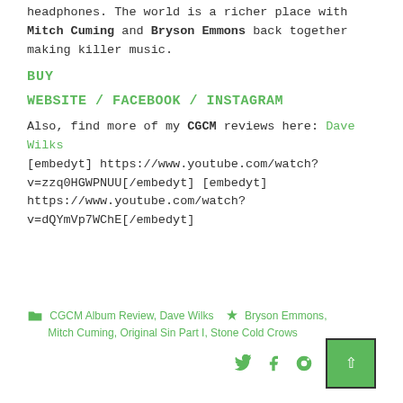headphones. The world is a richer place with Mitch Cuming and Bryson Emmons back together making killer music.
BUY
WEBSITE / FACEBOOK / INSTAGRAM
Also, find more of my CGCM reviews here: Dave Wilks [embedyt] https://www.youtube.com/watch?v=zzq0HGWPNUU[/embedyt] [embedyt] https://www.youtube.com/watch?v=dQYmVp7WChE[/embedyt]
CGCM Album Review, Dave Wilks | Bryson Emmons, Mitch Cuming, Original Sin Part I, Stone Cold Crows